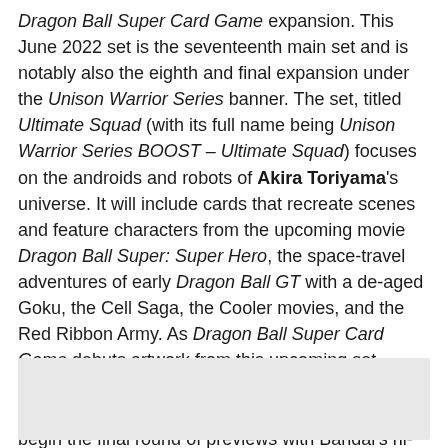Dragon Ball Super Card Game expansion. This June 2022 set is the seventeenth main set and is notably also the eighth and final expansion under the Unison Warrior Series banner. The set, titled Ultimate Squad (with its full name being Unison Warrior Series BOOST – Ultimate Squad) focuses on the androids and robots of Akira Toriyama's universe. It will include cards that recreate scenes and feature characters from the upcoming movie Dragon Ball Super: Super Hero, the space-travel adventures of early Dragon Ball GT with a de-aged Goku, the Cell Saga, the Cooler movies, and the Red Ribbon Army. As Dragon Ball Super Card Game debuts artwork from this upcoming set, Bleeding Cool will offer a look into the upcoming cards from a collector's perspective. Today, we will begin the final round of previews with Bandai's hi-res previews of the set's bigger hits.
[Figure (photo): Image placeholder / grey rectangle at bottom of page]